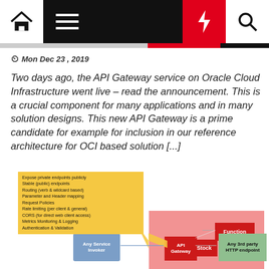Navigation bar with home, menu, lightning, and search icons
Mon Dec 23, 2019
Two days ago, the API Gateway service on Oracle Cloud Infrastructure went live – read the announcement. This is a crucial component for many applications and in many solution designs. This new API Gateway is a prime candidate for example for inclusion in our reference architecture for OCI based solution [...]
[Figure (infographic): Architecture diagram showing API Gateway connecting Any Service Invoker to Function, Stock, and Any 3rd party HTTP endpoint boxes, with a yellow tooltip listing gateway features including: Expose private endpoints publicly, Stable (public) endpoints, Routing (verb & wildcard based), Parameter and Header mapping, Request Policies, Rate limiting (per client & general), CORS (for direct web client access), Metrics Monitoring & Logging, Authentication & Validation]